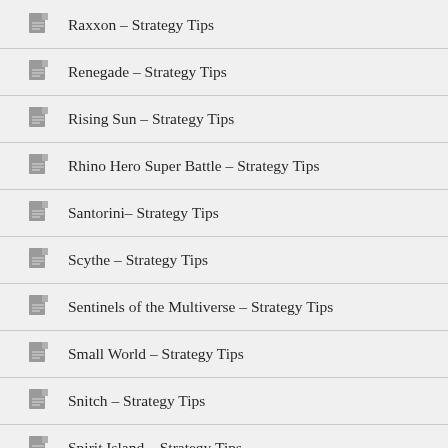Raxxon – Strategy Tips
Renegade – Strategy Tips
Rising Sun – Strategy Tips
Rhino Hero Super Battle – Strategy Tips
Santorini– Strategy Tips
Scythe – Strategy Tips
Sentinels of the Multiverse – Strategy Tips
Small World – Strategy Tips
Snitch – Strategy Tips
Spirit Island – Strategy Tips